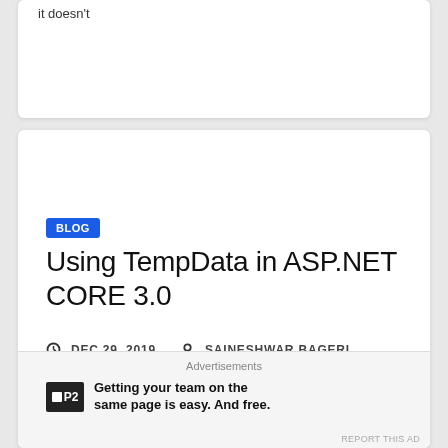it doesn't
BLOG
Using TempData in ASP.NET CORE 3.0
DEC 29, 2019   SAINESHWAR BAGERI
Using TempData in ASP.NET CORE 3.0 TempData in MVC is used to pass data from Controller to Controller or Controller to view and it is used to pass data that...
Advertisements
Getting your team on the same page is easy. And free.
REPORT THIS AD